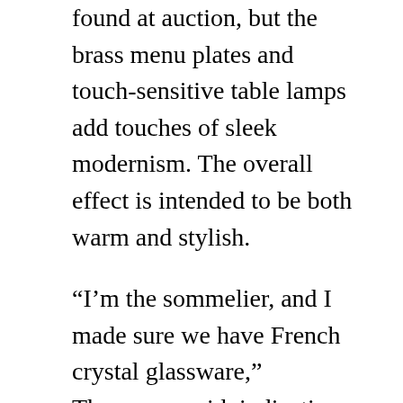found at auction, but the brass menu plates and touch-sensitive table lamps add touches of sleek modernism. The overall effect is intended to be both warm and stylish.
“I’m the sommelier, and I made sure we have French crystal glassware,” Thompson said, indicating delicate wine glasses on the tabletop. “And we bought the most high-end ice machine you can have, so that we have cocktail ice. We really spared no expense